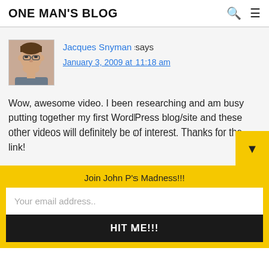ONE MAN'S BLOG
Jacques Snyman says
January 3, 2009 at 11:18 am
Wow, awesome video. I been researching and am busy putting together my first WordPress blog/site and these other videos will definitely be of interest. Thanks for the link!
Join John P's Madness!!!
Your email address..
HIT ME!!!